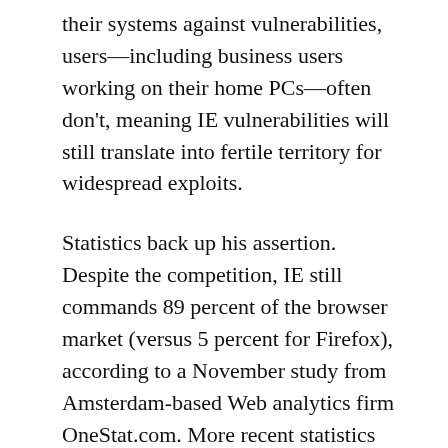their systems against vulnerabilities, users—including business users working on their home PCs—often don't, meaning IE vulnerabilities will still translate into fertile territory for widespread exploits.
Statistics back up his assertion. Despite the competition, IE still commands 89 percent of the browser market (versus 5 percent for Firefox), according to a November study from Amsterdam-based Web analytics firm OneStat.com. More recent statistics from WebSideStory say IE has lost five percent of overall market share since mid-2004, but that it still commands 90.3 percent of the market.
So while the press might have been pitching Microsoft versus Mozilla—risen from the ashes of Netscape—as the biggest showdown since, well, Microsoft versus Netscape, this isn't Browser Wars